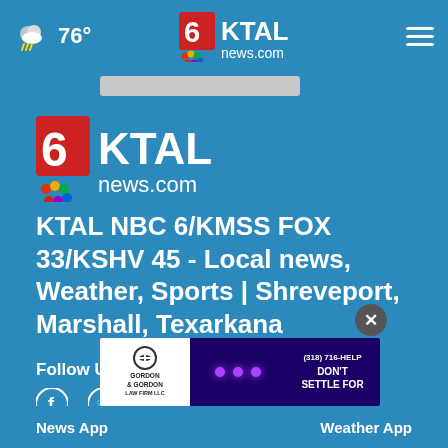76° KTAL news.com
[Figure (logo): KTAL NBC 6 / news.com logo — large version in center of page]
KTAL NBC 6/KMSS FOX 33/KSHV 45 - Local news, Weather, Sports | Shreveport, Marshall, Texarkana
Follow Us
[Figure (infographic): Social media icons row: Facebook, Twitter, Instagram, Pinterest, YouTube, Email]
[Figure (infographic): Advertisement banner: Gordon & Gordon Law Firm LLC — (318) 716-HELP DON'T SETTLE FOR]
News App    Weather App